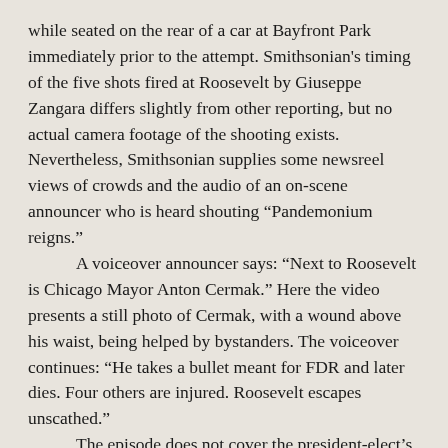while seated on the rear of a car at Bayfront Park immediately prior to the attempt. Smithsonian's timing of the five shots fired at Roosevelt by Giuseppe Zangara differs slightly from other reporting, but no actual camera footage of the shooting exists. Nevertheless, Smithsonian supplies some newsreel views of crowds and the audio of an on-scene announcer who is heard shouting “Pandemonium reigns.”
	A voiceover announcer says: “Next to Roosevelt is Chicago Mayor Anton Cermak.” Here the video presents a still photo of Cermak, with a wound above his waist, being helped by bystanders. The voiceover continues: “He takes a bullet meant for FDR and later dies. Four others are injured. Roosevelt escapes unscathed.”
	The episode does not cover the president-elect’s actions nor other events following the shooting, except to praise Lillian Cross as the person causing Zangara’s